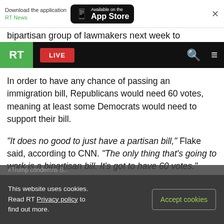Download the application RT News — Available on the App Store
bipartisan group of lawmakers next week to
[Figure (screenshot): RT news website navigation bar with green RT logo, red LIVE button, search icon, and hamburger menu on black background]
In order to have any chance of passing an immigration bill, Republicans would need 60 votes, meaning at least some Democrats would need to support their bill.
“It does no good to just have a partisan bill,” Flake said, according to CNN. “The only thing that’s going to work is a bipartisan bill. It’s got to have 60 votes.”
[Figure (screenshot): RT Twitter embed showing RT handle with green avatar and blue checkmark, with Twitter bird icon]
This website uses cookies. Read RT Privacy policy to find out more.
Accept cookies